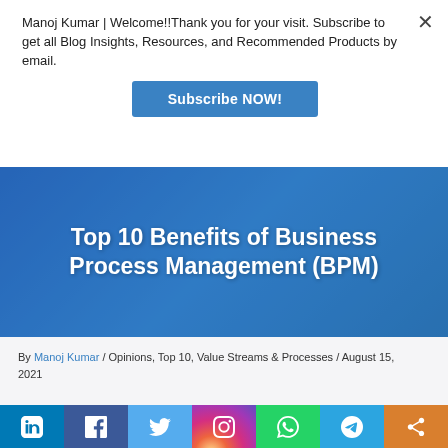Manoj Kumar | Welcome!!Thank you for your visit. Subscribe to get all Blog Insights, Resources, and Recommended Products by email.
Subscribe NOW!
Top 10 Benefits of Business Process Management (BPM)
By Manoj Kumar / Opinions, Top 10, Value Streams & Processes / August 15, 2021